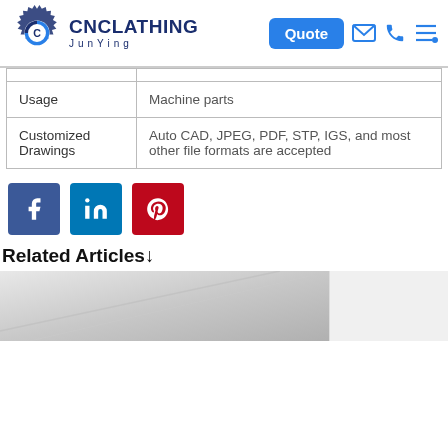[Figure (logo): CNClathing JunYing logo with gear icon and navigation header including Quote button, email, phone, and menu icons]
|  |  |
| Usage | Machine parts |
| Customized Drawings | Auto CAD, JPEG, PDF, STP, IGS, and most other file formats are accepted |
[Figure (infographic): Social media sharing icons: Facebook (blue), LinkedIn (blue), Pinterest (red)]
Related Articles↓
[Figure (photo): Partial image of a metal sheet/part, bottom of page]